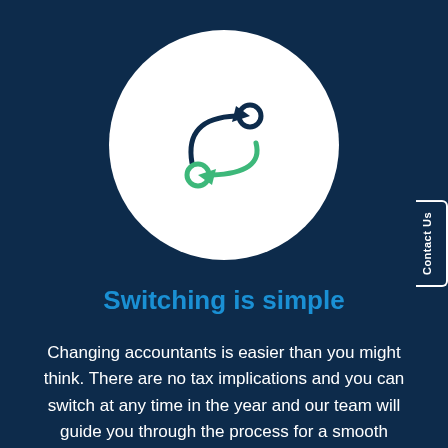[Figure (illustration): White circle on dark navy blue background containing a switching/transfer icon: two curved arrows forming a cycle, one dark navy arrow pointing upper-right toward a dark circle, one green arrow pointing lower-left toward a green circle — representing switching accountants.]
Switching is simple
Changing accountants is easier than you might think. There are no tax implications and you can switch at any time in the year and our team will guide you through the process for a smooth